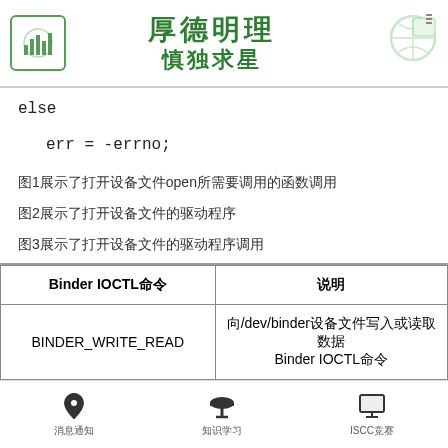厚德明理 慎独求星
else
err = -errno;
图1展示了打开设备文件open所需要调用的函数调用
图2展示了打开设备文件的驱动程序
图3展示了打开设备文件的驱动程序调用
| Binder IOCTL命令 | 说明 |
| --- | --- |
| BINDER_WRITE_READ | 向/dev/binder设备文件写入或读取数据
Binder IOCTL命令 |
消息通知  知识学习  ISCC竞赛